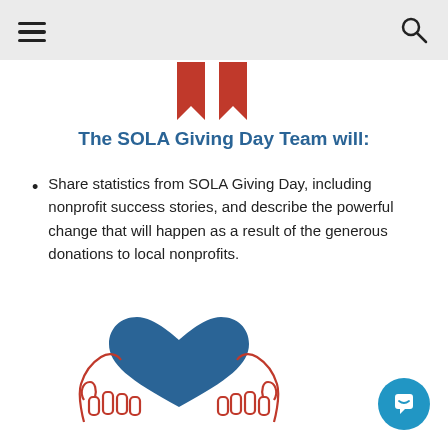[Navigation bar with hamburger menu and search icon]
[Figure (illustration): Two red ribbon/pennant bookmark shapes pointing downward, centered at top]
The SOLA Giving Day Team will:
Share statistics from SOLA Giving Day, including nonprofit success stories, and describe the powerful change that will happen as a result of the generous donations to local nonprofits.
[Figure (illustration): Two red outline hands cupping a blue heart shape, centered in lower half of page]
[Figure (other): Blue circular chat button with white speech bubble icon, bottom right corner]